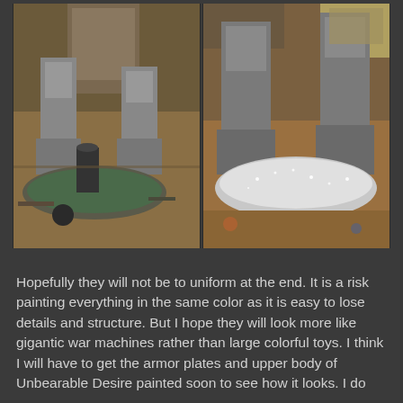[Figure (photo): Two side-by-side photographs of unpainted or grey-primed Warhammer-style war machine/titan miniatures on a cluttered hobby desk. Left photo shows lower legs and feet of the miniature from the front. Right photo shows a closer angle of similar grey-primed large miniature legs with some white textured material (possibly snow effect) on the base.]
Hopefully they will not be to uniform at the end. It is a risk painting everything in the same color as it is easy to lose details and structure. But I hope they will look more like gigantic war machines rather than large colorful toys. I think I will have to get the armor plates and upper body of Unbearable Desire painted soon to see how it looks. I do